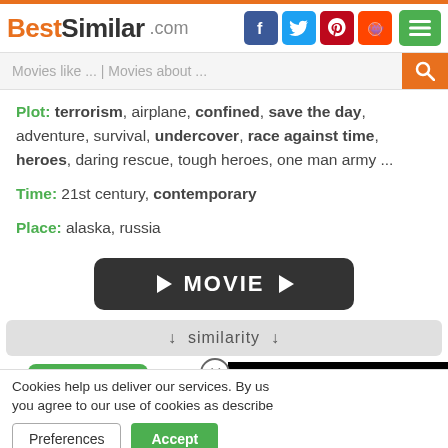BestSimilar.com
Plot: terrorism, airplane, confined, save the day, adventure, survival, undercover, race against time, heroes, daring rescue, tough heroes, one man army ...
Time: 21st century, contemporary
Place: alaska, russia
[Figure (other): MOVIE play button]
↓ similarity ↓
Yes
Cookies help us deliver our services. By using our services, you agree to our use of cookies as described in our Cookies Policy.